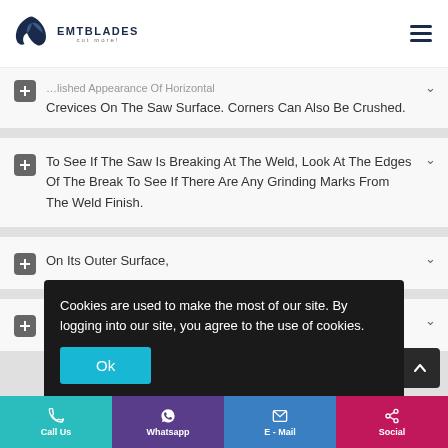[Figure (logo): EMT Blades logo with eagle icon and text 'EMTBLADES cut more!']
Crevices On The Saw Surface. Corners Can Also Be Crushed.
To See If The Saw Is Breaking At The Weld, Look At The Edges Of The Break To See If There Are Any Grinding Marks From The Weld Finish.
On Its Outer Surface,
On Its Outer Surfaces.
Cookies are used to make the most of our site. By logging into our site, you agree to the use of cookies.
Ok
Call Us | Whatsapp | E - Mail | Social